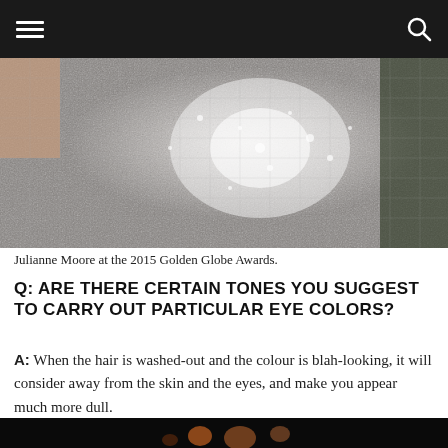[Navigation header with hamburger menu and search icon]
[Figure (photo): Close-up photo of a silver/metallic sequined dress, worn at the 2015 Golden Globe Awards by Julianne Moore]
Julianne Moore at the 2015 Golden Globe Awards.
Q: ARE THERE CERTAIN TONES YOU SUGGEST TO CARRY OUT PARTICULAR EYE COLORS?
A: When the hair is washed-out and the colour is blah-looking, it will consider away from the skin and the eyes, and make you appear much more dull.
If you have green eyes, a couple of soft copper highlights will carry out your eye colour superbly.
[Figure (photo): Dark photo showing a face with soft bokeh light circles in the background]